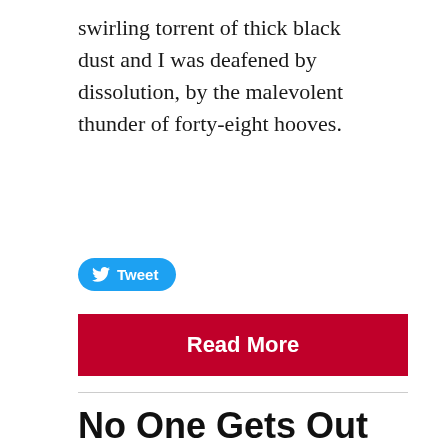swirling torrent of thick black dust and I was deafened by dissolution, by the malevolent thunder of forty-eight hooves.
[Figure (other): Tweet button with Twitter bird icon]
Read More
No One Gets Out Of Here Alive: An